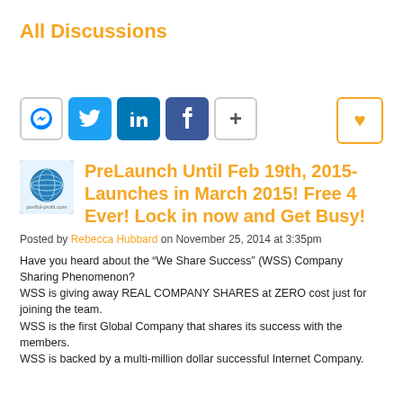All Discussions
[Figure (infographic): Social sharing buttons: Messenger, Twitter, LinkedIn, Facebook, plus button, and a heart/like button on the right]
PreLaunch Until Feb 19th, 2015-Launches in March 2015! Free 4 Ever! Lock in now and Get Busy!
Posted by Rebecca Hubbard on November 25, 2014 at 3:35pm
Have you heard about the “We Share Success” (WSS) Company Sharing Phenomenon?
 WSS is giving away REAL COMPANY SHARES at ZERO cost just for joining the team.
 WSS is the first Global Company that shares its success with the members.
 WSS is backed by a multi-million dollar successful Internet Company.